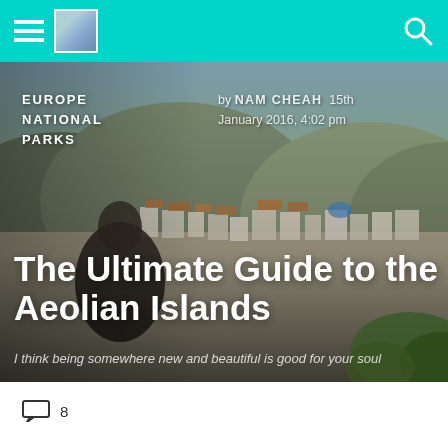EUROPE NATIONAL PARKS | by NAM CHEAH 15th January 2016, 4:02 pm
[Figure (photo): Hero banner photo of a Mediterranean hillside town (likely in the Aeolian Islands) with white buildings, mountains in background, taken at sunset. A woman in a floral dress sits in the foreground.]
The Ultimate Guide to the Aeolian Islands
I think being somewhere new and beautiful is good for your soul
8